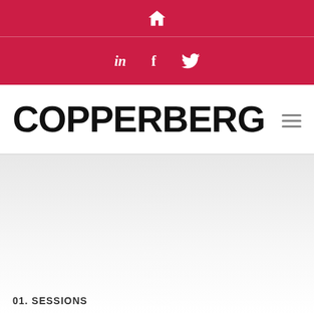🏠
in  f  🐦
COPPERBERG
01. SESSIONS
Welcome to Field Service